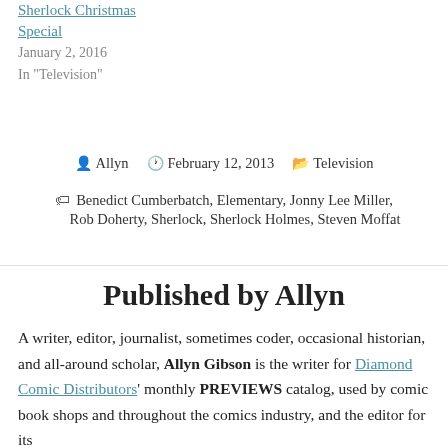Sherlock Christmas Special
January 2, 2016
In "Television"
By Allyn  |  February 12, 2013  |  Television
Tags: Benedict Cumberbatch, Elementary, Jonny Lee Miller, Rob Doherty, Sherlock, Sherlock Holmes, Steven Moffat
Published by Allyn
A writer, editor, journalist, sometimes coder, occasional historian, and all-around scholar, Allyn Gibson is the writer for Diamond Comic Distributors' monthly PREVIEWS catalog, used by comic book shops and throughout the comics industry, and the editor for its